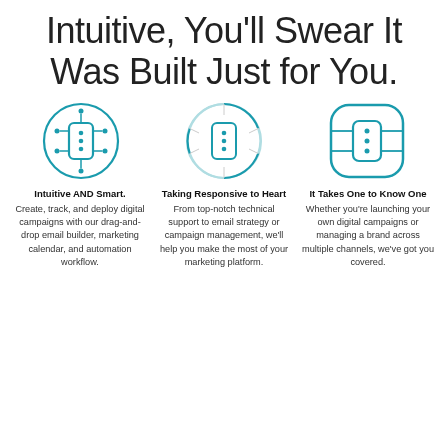Intuitive, You'll Swear It Was Built Just for You.
[Figure (illustration): Three circular teal icons representing software features: (1) a node/graph icon in a teal circle, (2) a server/device icon in a segmented circle, (3) a server/device icon in a rounded-rectangle teal circle.]
Intuitive AND Smart. Create, track, and deploy digital campaigns with our drag-and-drop email builder, marketing calendar, and automation workflow.
Taking Responsive to Heart From top-notch technical support to email strategy or campaign management, we'll help you make the most of your marketing platform.
It Takes One to Know One Whether you're launching your own digital campaigns or managing a brand across multiple channels, we've got you covered.